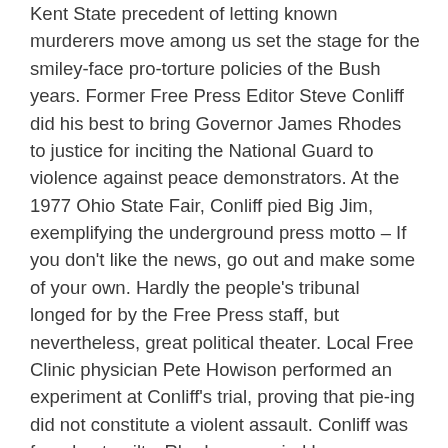Kent State precedent of letting known murderers move among us set the stage for the smiley-face pro-torture policies of the Bush years. Former Free Press Editor Steve Conliff did his best to bring Governor James Rhodes to justice for inciting the National Guard to violence against peace demonstrators. At the 1977 Ohio State Fair, Conliff pied Big Jim, exemplifying the underground press motto – If you don't like the news, go out and make some of your own. Hardly the people's tribunal longed for by the Free Press staff, but nevertheless, great political theater. Local Free Clinic physician Pete Howison performed an experiment at Conliff's trial, proving that pie-ing did not constitute a violent assault. Conliff was found not guilty. Rhodes was pied by proxy again in 1990 on the 20th when his statute, then on the Ohio Statehouse grounds, took a direct hit to the face